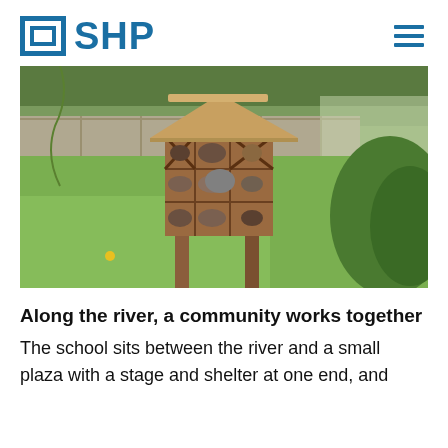SHP
[Figure (photo): A wooden insect hotel/bug house on two posts, filled with pinecones, twigs, and natural materials, set in a grassy garden area with stone walls and vegetation in the background.]
Along the river, a community works together
The school sits between the river and a small plaza with a stage and shelter at one end, and